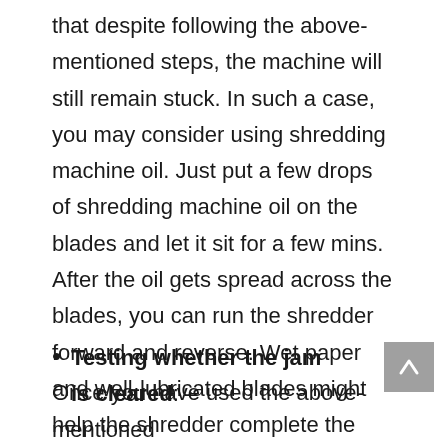that despite following the above-mentioned steps, the machine will still remain stuck. In such a case, you may consider using shredding machine oil. Just put a few drops of shredding machine oil on the blades and let it sit for a few mins. After the oil gets spread across the blades, you can run the shredder forward and reverse. Wet paper and well-lubricated blades might help the shredder complete the cycle and the jam might get unclogged. This step will surely fix the paper shredder easily.
Testing whether the jam is cleared: –
Once you have used the above-mentioned